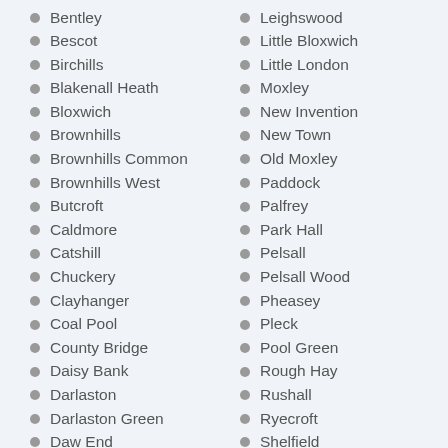Bentley
Bescot
Birchills
Blakenall Heath
Bloxwich
Brownhills
Brownhills Common
Brownhills West
Butcroft
Caldmore
Catshill
Chuckery
Clayhanger
Coal Pool
County Bridge
Daisy Bank
Darlaston
Darlaston Green
Daw End
The Delves
Leighswood
Little Bloxwich
Little London
Moxley
New Invention
New Town
Old Moxley
Paddock
Palfrey
Park Hall
Pelsall
Pelsall Wood
Pheasey
Pleck
Pool Green
Rough Hay
Rushall
Ryecroft
Shelfield
Shepwell Green